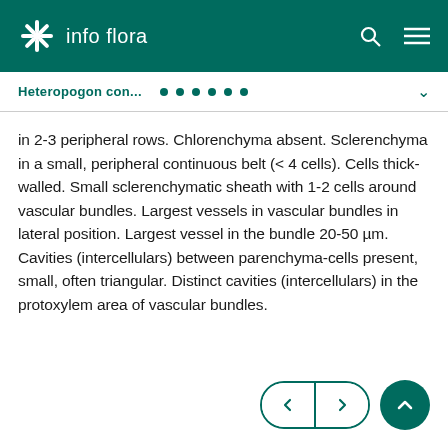info flora
Heteropogon con...
in 2-3 peripheral rows. Chlorenchyma absent. Sclerenchyma in a small, peripheral continuous belt (< 4 cells). Cells thick-walled. Small sclerenchymatic sheath with 1-2 cells around vascular bundles. Largest vessels in vascular bundles in lateral position. Largest vessel in the bundle 20-50 µm. Cavities (intercellulars) between parenchyma-cells present, small, often triangular. Distinct cavities (intercellulars) in the protoxylem area of vascular bundles.